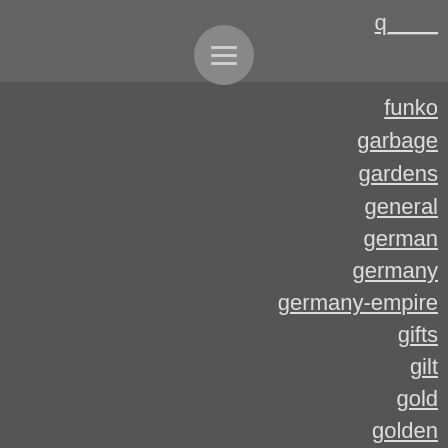menu icon header
funko
garbage
gardens
general
german
germany
germany-empire
gifts
gilt
gold
golden
grade
grading
great